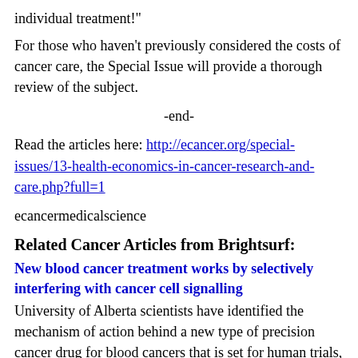individual treatment!"
For those who haven't previously considered the costs of cancer care, the Special Issue will provide a thorough review of the subject.
-end-
Read the articles here: http://ecancer.org/special-issues/13-health-economics-in-cancer-research-and-care.php?full=1
ecancermedicalscience
Related Cancer Articles from Brightsurf:
New blood cancer treatment works by selectively interfering with cancer cell signalling
University of Alberta scientists have identified the mechanism of action behind a new type of precision cancer drug for blood cancers that is set for human trials, according